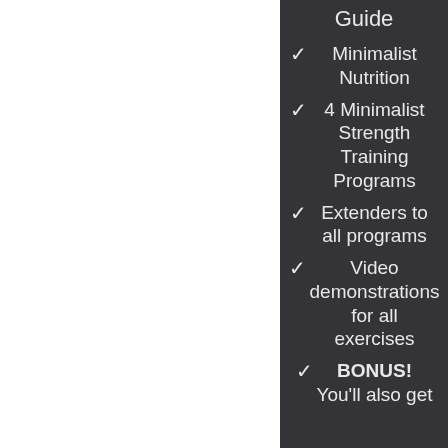Guide
✓ Minimalist Nutrition
✓ 4 Minimalist Strength Training Programs
✓ Extenders to all programs
✓ Video demonstrations for all exercises
✓ BONUS! You'll also get